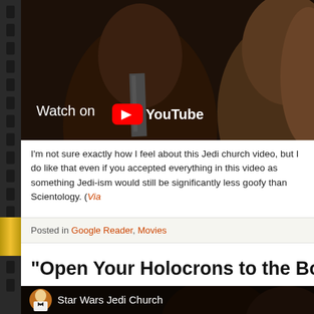[Figure (screenshot): YouTube video thumbnail showing two people, with 'Watch on YouTube' overlay branding at bottom-left]
I'm not sure exactly how I feel about this Jedi church video, but I do like that even if you accepted everything in this video as something Jedi-ism would still be significantly less goofy than Scientology. (Via
Posted in Google Reader, Movies
“Open Your Holocrons to the Boo
[Figure (screenshot): YouTube video thumbnail showing 'Star Wars Jedi Church' channel with avatar of a person in white tuxedo, and people visible in the video background]